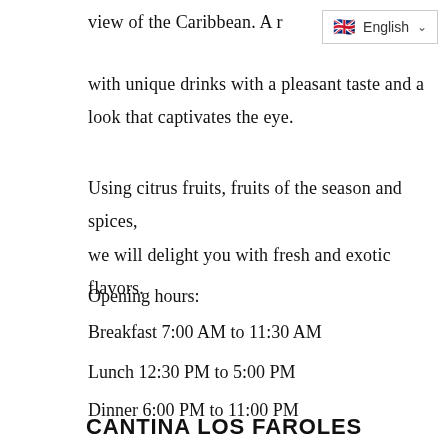view of the Caribbean. A r…
[Figure (other): Language selector widget showing UK flag and 'English' label with dropdown chevron]
with unique drinks with a pleasant taste and a look that captivates the eye.
Using citrus fruits, fruits of the season and spices, we will delight you with fresh and exotic flavors.
Opening hours:
Breakfast 7:00 AM to 11:30 AM
Lunch 12:30 PM to 5:00 PM
Dinner 6:00 PM to 11:00 PM
CANTINA LOS FAROLES